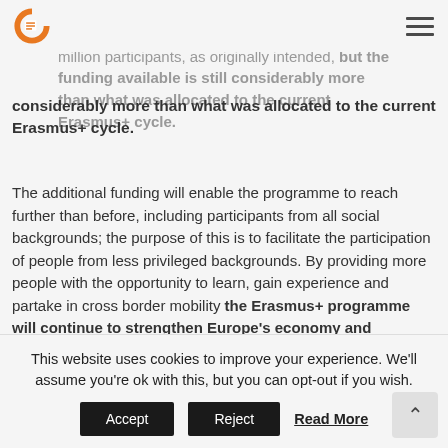Project Consult logo and navigation menu
€24.6 billion for the next Erasmus+ programme, which unfortunately will not be able to support 12 million participants, as originally intended, but the funding available is still considerably more than what was allocated to the current Erasmus+ cycle.
The additional funding will enable the programme to reach further than before, including participants from all social backgrounds; the purpose of this is to facilitate the participation of people from less privileged backgrounds. By providing more people with the opportunity to learn, gain experience and partake in cross border mobility the Erasmus+ programme will continue to strengthen Europe's economy and community while tackling global issues and promoting social equality.
Aims and Ambitions
The next Erasmus+ programme aims to...
This website uses cookies to improve your experience. We'll assume you're ok with this, but you can opt-out if you wish.